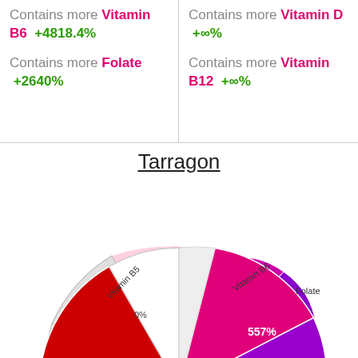Contains more Vitamin B6 +4818.4%
Contains more Folate +2640%
Contains more Vitamin D +∞%
Contains more Vitamin B12 +∞%
Tarragon
[Figure (pie-chart): Tarragon]